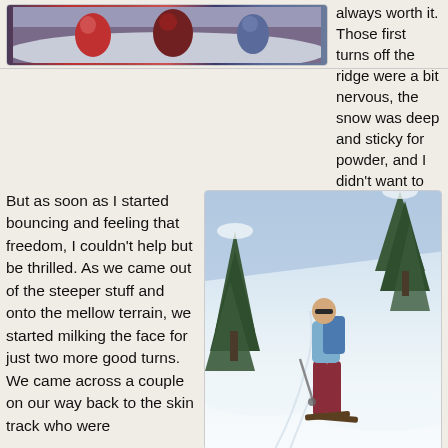[Figure (photo): Partial photo of skiers at the top of a ridge, cropped at top of page]
always worth it. Those first turns off the ridge were a bit nervous, the snow was deep and sticky for powder, and I didn't want to fall and load the slope any more.
But as soon as I started bouncing and feeling that freedom, I couldn't help but be thrilled. As we came out of the steeper stuff and onto the mellow terrain, we started milking the face for just two more good turns. We came across a couple on our way back to the skin track who were
[Figure (photo): A skier with a backpack and ski poles standing on a snowy slope with snow-covered trees in the background]